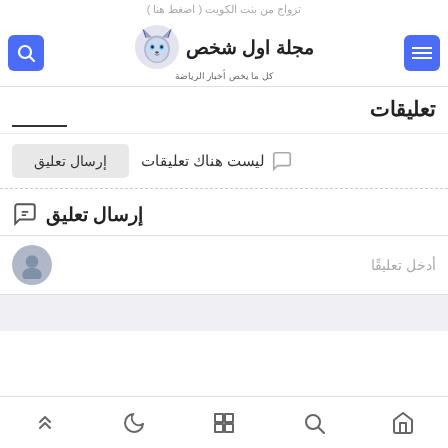تزواج من بنت الكويت ( اضغط هنا )
[Figure (logo): مجلة اول شخص - wolf logo with Arabic text 'كل ما يخص أخبار الرياضة']
تعليقات
ليست هناك تعليقات
إرسال تعليق
إرسال تعليق
أدخل تعليقًا
bottom navigation bar with home, search, grid, moon, and up-arrow icons